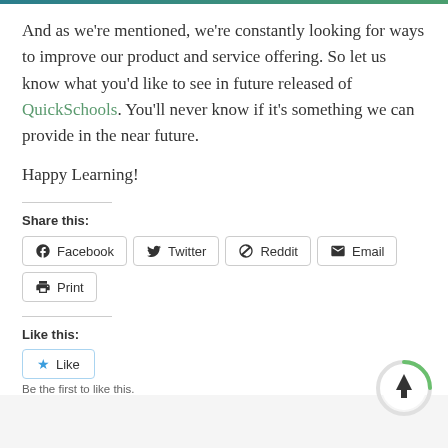And as we're mentioned, we're constantly looking for ways to improve our product and service offering. So let us know what you'd like to see in future released of QuickSchools. You'll never know if it's something we can provide in the near future.
Happy Learning!
Share this:
Facebook  Twitter  Reddit  Email  Print
Like this:
Like
Be the first to like this.